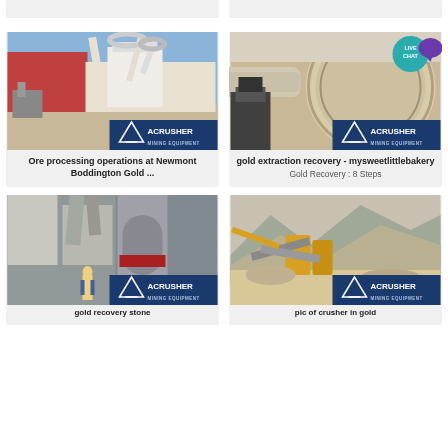[Figure (photo): Top strip: two partial card tops cut off at page top]
[Figure (photo): Industrial milling/grinding facility with large pipe and dust collection systems, outdoors. ACRUSHER Mining Equipment watermark.]
Ore processing operations at Newmont Boddington Gold ...
[Figure (photo): Close-up of large industrial ball mill or drum equipment in a facility. ACRUSHER Mining Equipment watermark. Live Chat badge overlay.]
gold extraction recovery - mysweetlittlebakery
Gold Recovery : 8 Steps
[Figure (photo): Industrial grinding/milling equipment with vertical mills inside a processing facility. ACRUSHER Mining Equipment watermark.]
gold recovery stone
[Figure (photo): Open-pit gold mining site with heavy machinery and crushers in mountainous terrain. ACRUSHER Mining Equipment watermark.]
pic of crusher in gold